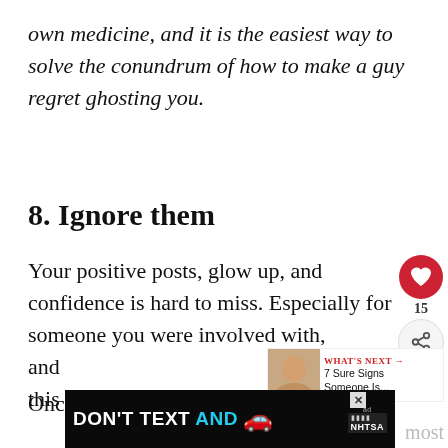own medicine, and it is the easiest way to solve the conundrum of how to make a guy regret ghosting you.
8. Ignore them
Your positive posts, glow up, and confidence is hard to miss. Especially for someone you were involved with, and this goes for your ghoster as well.
Once they reach out or try to like and
[Figure (screenshot): Ad banner: DON'T TEXT AND [car emoji] with ad choice icon and NHTSA logo on dark background]
most